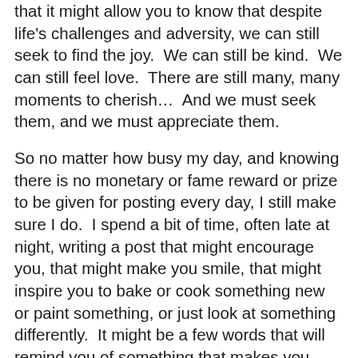that it might allow you to know that despite life's challenges and adversity, we can still seek to find the joy.  We can still be kind.  We can still feel love.  There are still many, many moments to cherish…  And we must seek them, and we must appreciate them.
So no matter how busy my day, and knowing there is no monetary or fame reward or prize to be given for posting every day, I still make sure I do.  I spend a bit of time, often late at night, writing a post that might encourage you, that might make you smile, that might inspire you to bake or cook something new or paint something, or just look at something differently.  It might be a few words that will remind you of something that makes you happy.  Sometimes I am typing it at 11 pm with only one eye open.  Other times I get ahead by four or five posts and give myself a break.  But I still make it a personal goal to